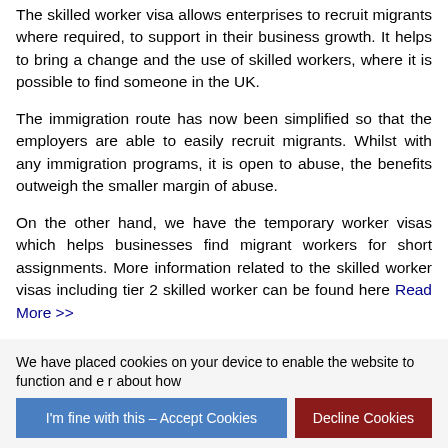The skilled worker visa allows enterprises to recruit migrants where required, to support in their business growth. It helps to bring a change and the use of skilled workers, where it is possible to find someone in the UK.
The immigration route has now been simplified so that the employers are able to easily recruit migrants. Whilst with any immigration programs, it is open to abuse, the benefits outweigh the smaller margin of abuse.
On the other hand, we have the temporary worker visas which helps businesses find migrant workers for short assignments. More information related to the skilled worker visas including tier 2 skilled worker can be found here Read More >>
We have placed cookies on your device to enable the website to function and more. Read more about how